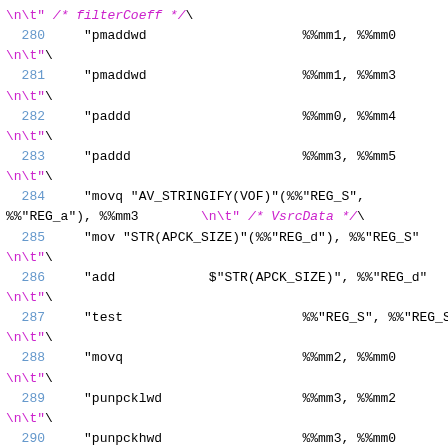source code listing lines 280-291 with assembly-like instructions
\n\t" /* filterCoeff */\
280     "pmaddwd                    %%mm1, %%mm0\n\t"\
281     "pmaddwd                    %%mm1, %%mm3\n\t"\
282     "paddd                      %%mm0, %%mm4\n\t"\
283     "paddd                      %%mm3, %%mm5\n\t"\
284     "movq "AV_STRINGIFY(VOF)"(%%"REG_S", %%"REG_a"), %%mm3   \n\t" /* VsrcData */\
285     "mov "STR(APCK_SIZE)"(%%"REG_d"), %%"REG_S"\n\t"\
286     "add            $"STR(APCK_SIZE)", %%"REG_d"\n\t"\
287     "test                       %%"REG_S", %%"REG_S"\n\t"\
288     "movq                       %%mm2, %%mm0\n\t"\
289     "punpcklwd                  %%mm3, %%mm2\n\t"\
290     "punpckhwd                  %%mm3, %%mm0\n\t"\
291     "pmaddwd                    %%mm1, %%mm2\n\t"\